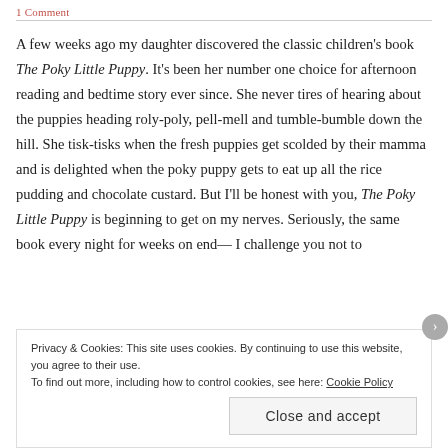1 Comment
A few weeks ago my daughter discovered the classic children's book The Poky Little Puppy. It's been her number one choice for afternoon reading and bedtime story ever since. She never tires of hearing about the puppies heading roly-poly, pell-mell and tumble-bumble down the hill. She tisk-tisks when the fresh puppies get scolded by their mamma and is delighted when the poky puppy gets to eat up all the rice pudding and chocolate custard. But I'll be honest with you, The Poky Little Puppy is beginning to get on my nerves. Seriously, the same book every night for weeks on end— I challenge you not to
Privacy & Cookies: This site uses cookies. By continuing to use this website, you agree to their use.
To find out more, including how to control cookies, see here: Cookie Policy

Close and accept